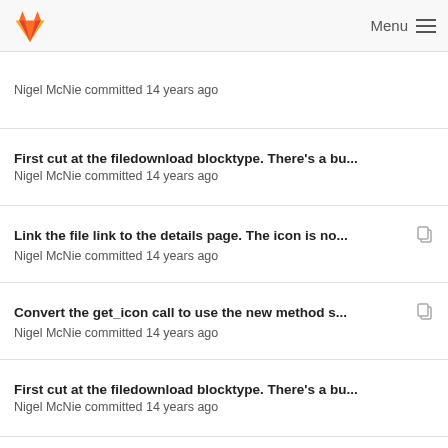GitLab / Menu
Nigel McNie committed 14 years ago
First cut at the filedownload blocktype. There's a bu...
Nigel McNie committed 14 years ago
Link the file link to the details page. The icon is no...
Nigel McNie committed 14 years ago
Convert the get_icon call to use the new method s...
Nigel McNie committed 14 years ago
First cut at the filedownload blocktype. There's a bu...
Nigel McNie committed 14 years ago
Fix up links so that icons and image downloads w...
Nigel McNie committed 14 years ago
First cut at the filedownload blocktype. There's a bu...
Nigel McNie committed 14 years ago
Link the file link to the details page. The icon is no...
Nigel McNie committed 14 years ago